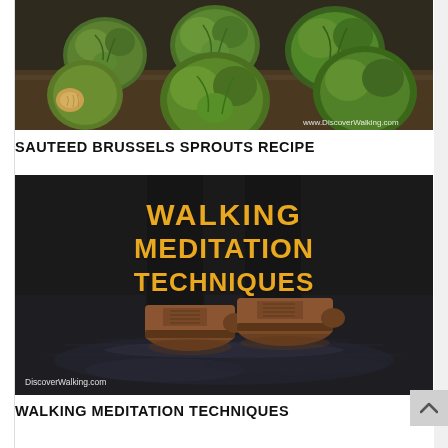[Figure (photo): Close-up photo of Brussels sprouts on a wooden surface with watermark 'www.DiscoverWalking.com' in bottom right corner]
SAUTEED BRUSSELS SPROUTS RECIPE
[Figure (photo): Photo of a person's legs and brown leather boots standing on wet pavement, with bold orange text overlay reading 'WALKING MEDITATION TECHNIQUES' and watermark 'DiscoverWalking.com' in bottom left]
WALKING MEDITATION TECHNIQUES